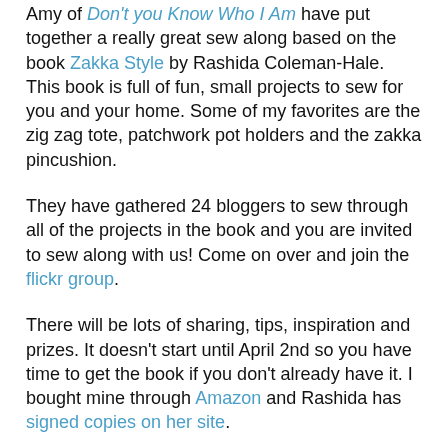Amy of Don't you Know Who I Am have put together a really great sew along based on the book Zakka Style by Rashida Coleman-Hale.  This book is full of fun, small projects to sew for you and your home.  Some of my favorites are the zig zag tote, patchwork pot holders and the zakka pincushion.
They have gathered 24 bloggers to sew through all of the projects in the book and you are invited to sew along with us!  Come on over and join the flickr group.
There will be lots of sharing, tips, inspiration and prizes.  It doesn't start until April 2nd so you have time to get the book if you don't already have it.  I bought mine through Amazon and Rashida has signed copies on her site.
I'll see you on May 7th with my version of Itty Bitty Quilt Block Magnets!  I have loved these since Nova first posted them and now I get to learn how to make my own... and maybe a couple for gifts.  Yay!